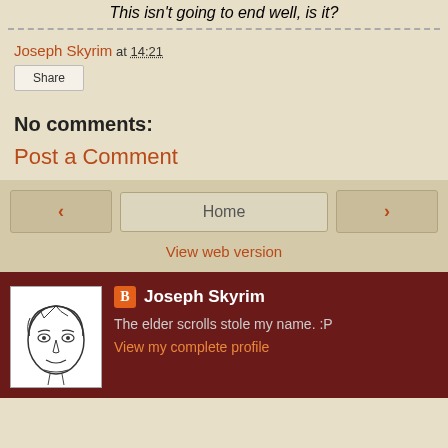This isn't going to end well, is it?
Joseph Skyrim at 14:21
Share
No comments:
Post a Comment
Home
View web version
[Figure (illustration): Line drawing portrait of a young man with styled hair]
Joseph Skyrim
The elder scrolls stole my name. :P
View my complete profile